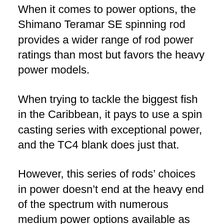When it comes to power options, the Shimano Teramar SE spinning rod provides a wider range of rod power ratings than most but favors the heavy power models.
When trying to tackle the biggest fish in the Caribbean, it pays to use a spin casting series with exceptional power, and the TC4 blank does just that.
However, this series of rods’ choices in power doesn’t end at the heavy end of the spectrum with numerous medium power options available as well.
In fact, these poles even have a medium-light model, offering anglers the more delicate power necessary when fishing for